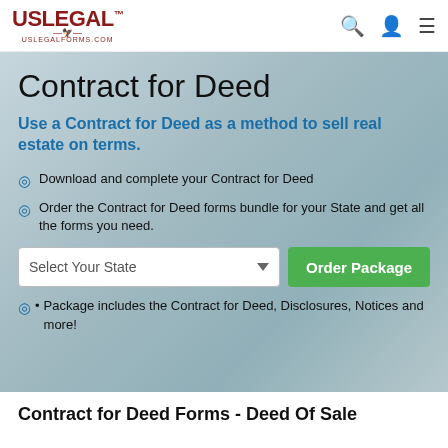USLegal™ uslegalforms.com
Contract for Deed
Use a Contract for Deed as a method to sell real estate on terms.
Download and complete your Contract for Deed
Order the Contract for Deed forms bundle for your State and get all the forms you need.
Select Your State [dropdown] Order Package [button]
Package includes the Contract for Deed, Disclosures, Notices and more!
Contract for Deed Forms - Deed Of Sale